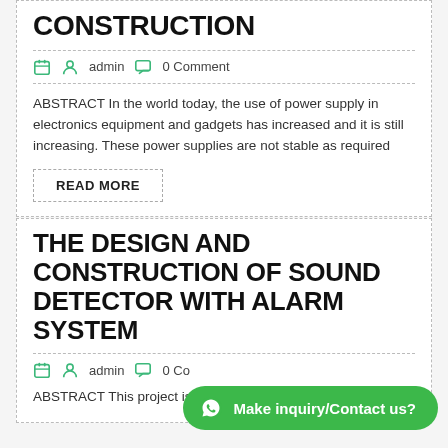CONSTRUCTION
admin  0 Comment
ABSTRACT In the world today, the use of power supply in electronics equipment and gadgets has increased and it is still increasing. These power supplies are not stable as required
READ MORE
THE DESIGN AND CONSTRUCTION OF SOUND DETECTOR WITH ALARM SYSTEM
admin  0 Co
ABSTRACT This project is design and construction of a
Make inquiry/Contact us?